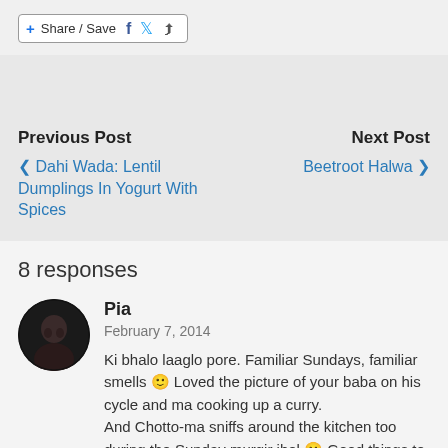[Figure (screenshot): Share/Save button with social media icons (Facebook, Twitter, share arrow)]
Previous Post
Next Post
< Dahi Wada: Lentil Dumplings In Yogurt With Spices
Beetroot Halwa >
8 responses
Pia
February 7, 2014
Ki bhalo laaglo pore. Familiar Sundays, familiar smells 🙂 Loved the picture of your baba on his cycle and ma cooking up a curry.
And Chotto-ma sniffs around the kitchen too during the Sunday murgir jhol 🙂 Good things to pass on, tai na?